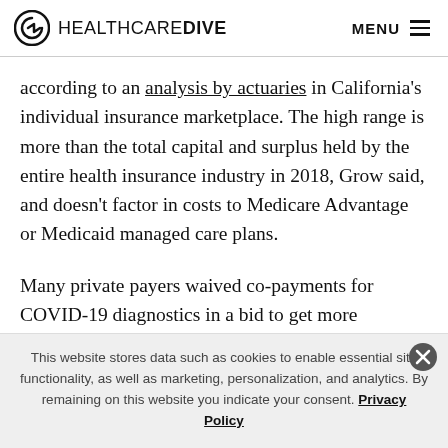HEALTHCAREDIVE  MENU
according to an analysis by actuaries in California's individual insurance marketplace. The high range is more than the total capital and surplus held by the entire health insurance industry in 2018, Grow said, and doesn't factor in costs to Medicare Advantage or Medicaid managed care plans.
Many private payers waived co-payments for COVID-19 diagnostics in a bid to get more Americans tested. Over
This website stores data such as cookies to enable essential site functionality, as well as marketing, personalization, and analytics. By remaining on this website you indicate your consent. Privacy Policy